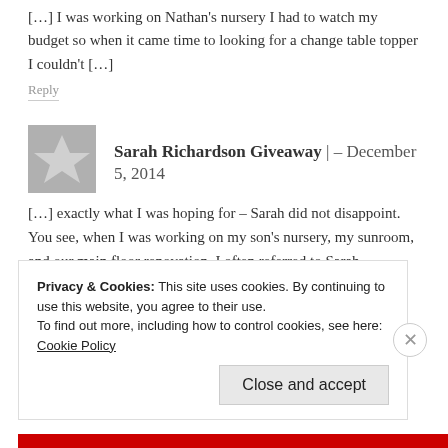[…] I was working on Nathan's nursery I had to watch my budget so when it came time to looking for a change table topper I couldn't […]
Reply
Sarah Richardson Giveaway | – December 5, 2014
[…] exactly what I was hoping for – Sarah did not disappoint. You see, when I was working on my son's nursery, my sunroom, and our main floor renovation, I often referred to Sarah Richardson's work on […]
Reply
Privacy & Cookies: This site uses cookies. By continuing to use this website, you agree to their use.
To find out more, including how to control cookies, see here: Cookie Policy
Close and accept